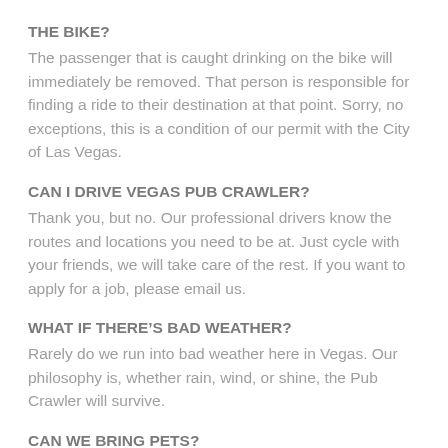THE BIKE?
The passenger that is caught drinking on the bike will immediately be removed. That person is responsible for finding a ride to their destination at that point. Sorry, no exceptions, this is a condition of our permit with the City of Las Vegas.
CAN I DRIVE VEGAS PUB CRAWLER?
Thank you, but no. Our professional drivers know the routes and locations you need to be at. Just cycle with your friends, we will take care of the rest. If you want to apply for a job, please email us.
WHAT IF THERE’S BAD WEATHER?
Rarely do we run into bad weather here in Vegas. Our philosophy is, whether rain, wind, or shine, the Pub Crawler will survive.
CAN WE BRING PETS?